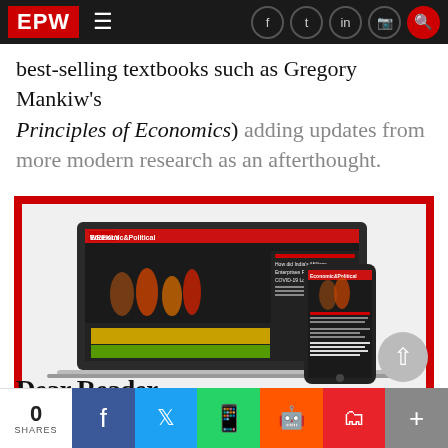EPW — Economic & Political Weekly navigation header
best-selling textbooks such as Gregory Mankiw's Principles of Economics) adding updates from more modern research as an afterthought.
[Figure (screenshot): Screenshot of the Economic & Political Weekly website displayed on a laptop and mobile phone, shown inside a red-bordered box. The website shows the EPW logo and an article titled 'How did India's Millions Enterprises Fare during the COVID-19 Lockdowns?']
Dear Reader
0 SHARES | Facebook | Twitter | WhatsApp | Reddit | Pocket | More